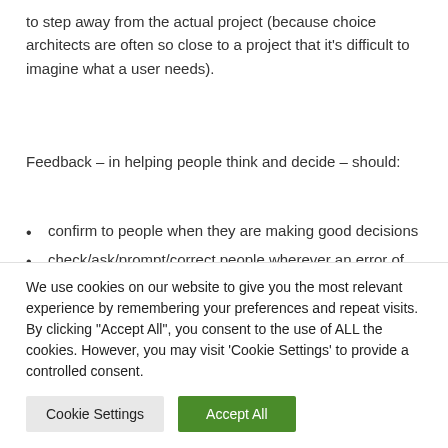to step away from the actual project (because choice architects are often so close to a project that it's difficult to imagine what a user needs).
Feedback – in helping people think and decide – should:
confirm to people when they are making good decisions
check/ask/prompt/correct people wherever an error of judgment might have occurred
suggest alternative/remedial action in the event of errors
We use cookies on our website to give you the most relevant experience by remembering your preferences and repeat visits. By clicking "Accept All", you consent to the use of ALL the cookies. However, you may visit 'Cookie Settings' to provide a controlled consent.